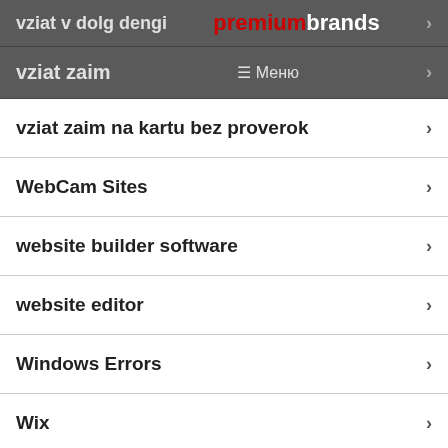vziat v dolg dengi
premiumbrands
vziat zaim
≡ Меню
vziat zaim na kartu bez proverok
WebCam Sites
website builder software
website editor
Windows Errors
Wix
women for marriage
women of bolivia